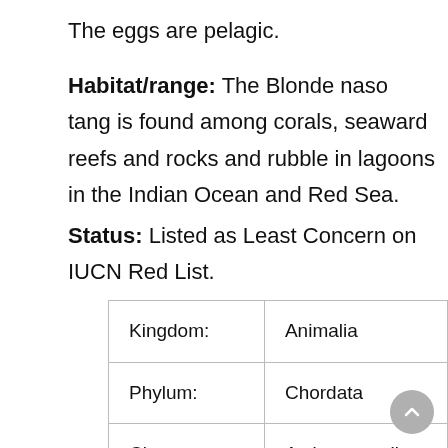The eggs are pelagic.
Habitat/range: The Blonde naso tang is found among corals, seaward reefs and rocks and rubble in lagoons in the Indian Ocean and Red Sea.
Status: Listed as Least Concern on IUCN Red List.
| Kingdom: | Animalia |
| Phylum: | Chordata |
| Class: | Actinopterygii |